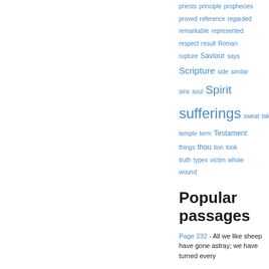priests  principle  prophecies  proved  reference  regarded  remarkable  represented  respect  result  Roman  rupture  Saviour  says  Scripture  side  similar  sins  soul  Spirit  sufferings  sweat  taken  temple  term  Testament  things  thou  tion  took  truth  types  victim  whole  wound
Popular passages
Page 232 - All we like sheep have gone astray; we have turned every